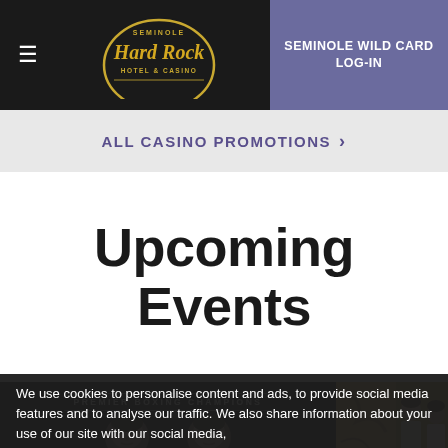Seminole Hard Rock Hotel & Casino — SEMINOLE WILD CARD LOG-IN
ALL CASINO PROMOTIONS >
Upcoming Events
[Figure (photo): Premier Boxing Champions event promotional image showing two fighters facing forward on black background]
[Figure (photo): Partial view of a second event image with two people visible]
We use cookies to personalise content and ads, to provide social media features and to analyse our traffic. We also share information about your use of our site with our social media,